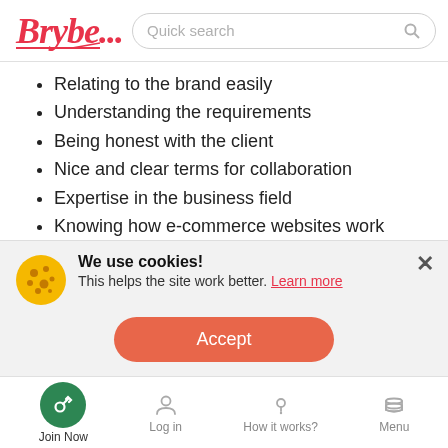[Figure (logo): Brybe logo in red cursive/script font with tagline dots]
Relating to the brand easily
Understanding the requirements
Being honest with the client
Nice and clear terms for collaboration
Expertise in the business field
Knowing how e-commerce websites work
Building trust among their audience
We use cookies! This helps the site work better. Learn more
Accept